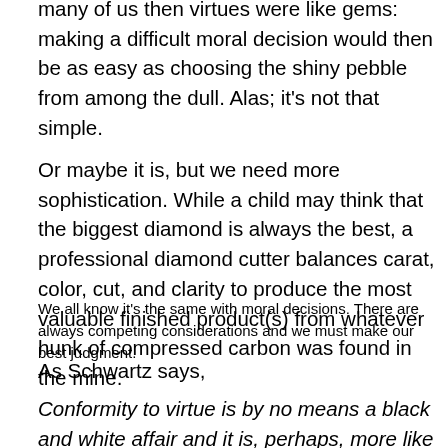many of us then virtues were like gems: making a difficult moral decision would then be as easy as choosing the shiny pebble from among the dull. Alas; it's not that simple.
Or maybe it is, but we need more sophistication. While a child may think that the biggest diamond is always the best, a professional diamond cutter balances carat, color, cut, and clarity to produce the most valuable finished product(s) from whatever hunk of compressed carbon was found in the mine.
We all know it's the same with moral decisions. There are always competing considerations and we must make our best judgment.
As Schwartz says,
Conformity to virtue is by no means a black and white affair and it is, perhaps, more like an aesthetic judgment the critics and relations and on positive bits of both. (Kindly